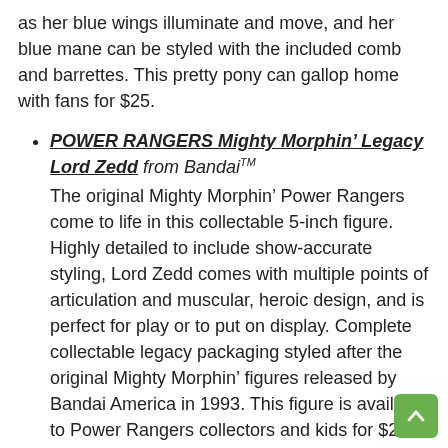as her blue wings illuminate and move, and her blue mane can be styled with the included comb and barrettes. This pretty pony can gallop home with fans for $25.
POWER RANGERS Mighty Morphin' Legacy Lord Zedd from Bandai™ The original Mighty Morphin' Power Rangers come to life in this collectable 5-inch figure. Highly detailed to include show-accurate styling, Lord Zedd comes with multiple points of articulation and muscular, heroic design, and is perfect for play or to put on display. Complete collectable legacy packaging styled after the original Mighty Morphin' figures released by Bandai America in 1993. This figure is available to Power Rangers collectors and kids for $20.
Star Wars™ Black Series Cantina Showdown from Hasbro® Recreate the biggest Star Wars™ battles with figures from The Black Series. Han Solo and Greedo face off in the Mos Eisley Cantina. Han has been dodging the bounty hunter for a long time, but at last Greedo has tracked him down. This set includes two highly articulated 6-inch figures that are part of the ultimate Star Wars collection. Both figures have holsters and blasters, and the